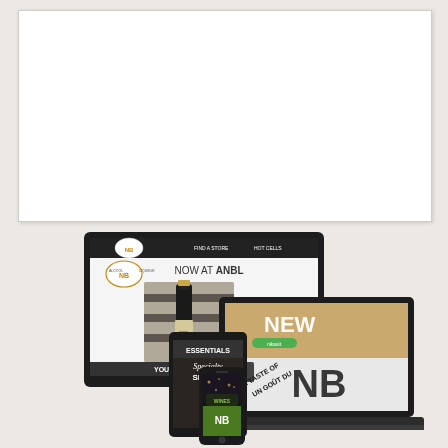[Figure (screenshot): White rectangular box/frame on light gray background, representing a blank whiteboard or screen placeholder]
[Figure (screenshot): Composite image showing multiple devices (desktop monitor, laptop, tablet/iPad, and smartphone) each displaying ANBL (Alcool NB Liquor) website and app interfaces. Monitor shows 'NOW AT ANBL' with wine bottle image. Laptop shows 'NEW' and 'A TASTE OF / UN GOUT DU NB' with NB logo. Tablet shows 'ESSENTIALS / Specialty Spirits'. Phone shows app screens with wine content.]